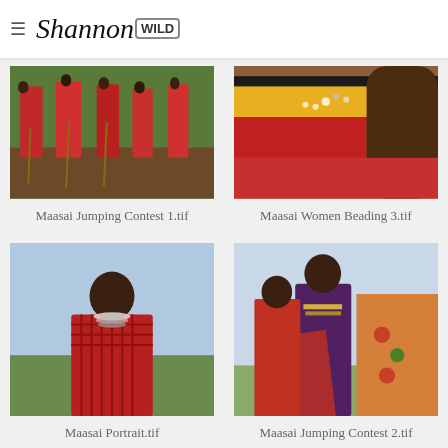Shannon WILD
[Figure (photo): Maasai people in red robes standing on brown earth with wooden sticks, viewed from below]
Maasai Jumping Contest 1.tif
[Figure (photo): Close-up of colorful fabric in yellow, black, and red with beadwork jewelry visible]
Maasai Women Beading 3.tif
[Figure (photo): Portrait of a Maasai man in red beaded traditional clothing against a blue sky background]
Maasai Portrait.tif
[Figure (photo): Maasai people in colorful purple and red robes smiling and jumping outdoors]
Maasai Jumping Contest 2.tif